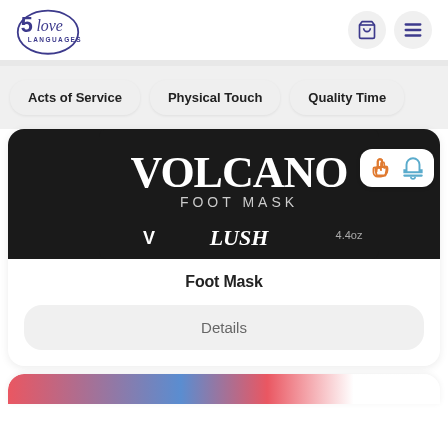5 love languages
Acts of Service
Physical Touch
Quality Time
[Figure (photo): Lush Volcano Foot Mask product tube, black packaging with white text, 4.4 oz]
Foot Mask
Details